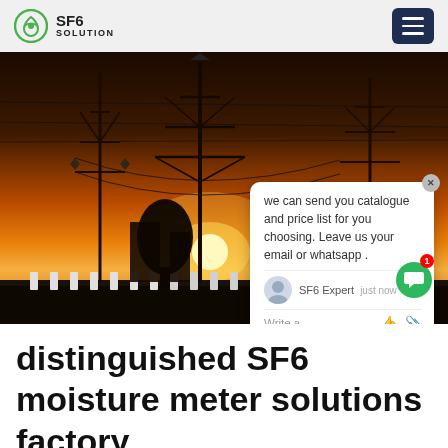SF6 SOLUTION
[Figure (screenshot): Hero image showing an electrical power substation at sunset with transmission towers and power lines silhouetted against an orange sky. A live chat popup overlay is visible in the lower right of the image showing a message from SF6 Expert: 'we can send you catalogue and price list for you choosing. Leave us your email or whatsapp.' with a green chat button and SF6China watermark.]
distinguished SF6 moisture meter solutions factory